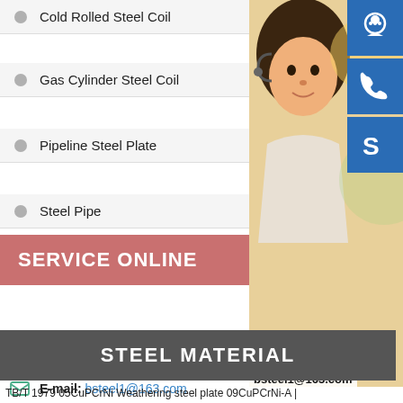Cold Rolled Steel Coil
Gas Cylinder Steel Coil
Pipeline Steel Plate
Steel Pipe
SERVICE ONLINE
[Figure (photo): Customer service representative (young woman with headset) with blue service icons for chat, phone, and Skype on the right side]
MANUAL SE
QUOTING O
bsteel1@163.com
CONTACT U
Phone: 0086-371-86151827
E-mail: bsteel1@163.com
STEEL MATERIAL
TB/T 1979 05CuPCrNi Weathering steel plate 09CuPCrNi-A |